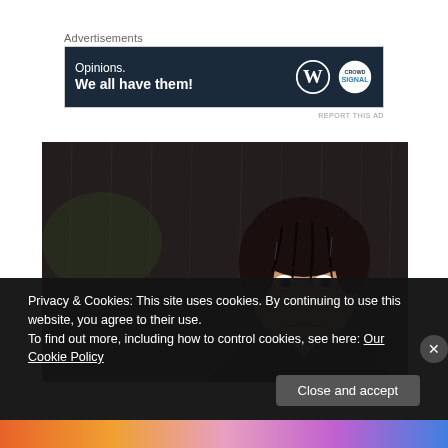Advertisements
[Figure (other): Advertisement banner with dark navy background showing text 'Opinions. We all have them!' with WordPress and FrontPoint logos on the right.]
REPORT THIS AD
[Figure (photo): A man with dark wet hair standing in the rain, looking distressed or sad, wearing a dark jacket with a light blue shirt collar visible.]
Privacy & Cookies: This site uses cookies. By continuing to use this website, you agree to their use.
To find out more, including how to control cookies, see here: Our Cookie Policy
Close and accept